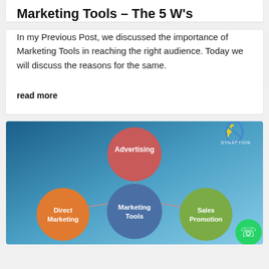Marketing Tools – The 5 W's
In my Previous Post, we discussed the importance of Marketing Tools in reaching the right audience. Today we will discuss the reasons for the same.
read more
[Figure (infographic): A circular diagram on a blue gradient background showing 'Marketing Tools' in a central blue circle connected to surrounding circles: 'Advertising' (red, top), 'Direct Marketing' (orange, left), 'Sales Promotion' (green, right). A logo with a stylized S shape in blue and yellow appears in the top right corner labeled 'SYNAPTION'. A WhatsApp icon appears at bottom right.]